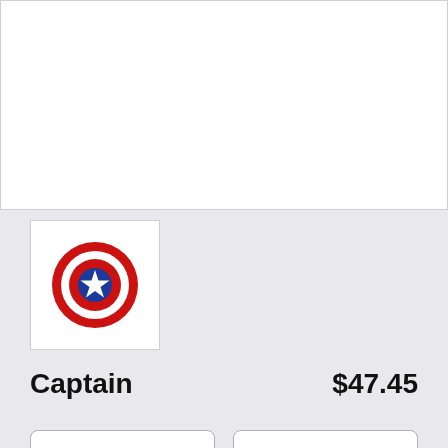[Figure (photo): Product image area (white background, top of page)]
[Figure (logo): Captain America shield logo — concentric red/white/blue circles with white star in center]
Captain
$47.45
Men's
Zip-Up Hoody
SELECT YOUR FIT
$47.45
French Terry